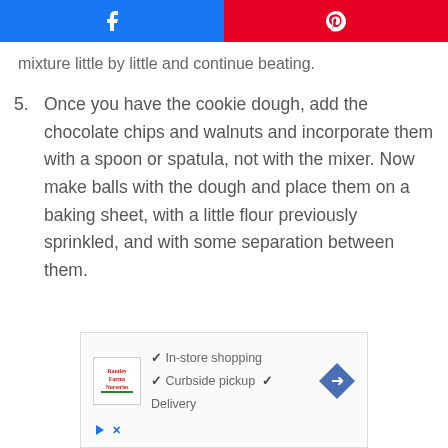[Figure (screenshot): Social sharing bar with Facebook (blue) and Pinterest (red) buttons]
mixture little by little and continue beating.
5. Once you have the cookie dough, add the chocolate chips and walnuts and incorporate them with a spoon or spatula, not with the mixer. Now make balls with the dough and place them on a baking sheet, with a little flour previously sprinkled, and with some separation between them.
[Figure (screenshot): Advertisement box showing a store logo with checkmarks for In-store shopping, Curbside pickup, and Delivery, with a navigation arrow icon]